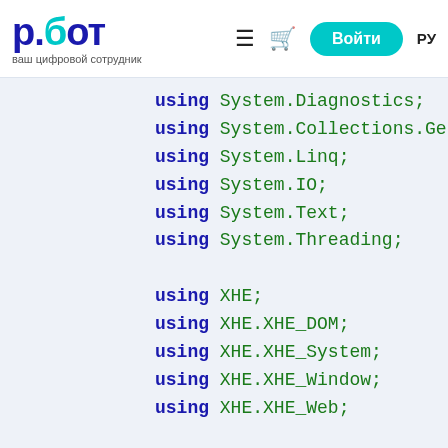р.бот / ваш цифровой сотрудник — Войти РУ
using System.Diagnostics;
using System.Collections.Generic;
using System.Linq;
using System.IO;
using System.Text;
using System.Threading;

using XHE;
using XHE.XHE_DOM;
using XHE.XHE_System;
using XHE.XHE_Window;
using XHE.XHE_Web;

#endregion

    class Program:XHEScript
    {